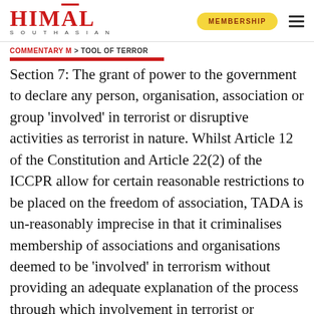HIMAL SOUTHASIAN — MEMBERSHIP
COMMENTARY M > TOOL OF TERROR
Section 7: The grant of power to the government to declare any person, organisation, association or group 'involved' in terrorist or disruptive activities as terrorist in nature. Whilst Article 12 of the Constitution and Article 22(2) of the ICCPR allow for certain reasonable restrictions to be placed on the freedom of association, TADA is un-reasonably imprecise in that it criminalises membership of associations and organisations deemed to be 'involved' in terrorism without providing an adequate explanation of the process through which involvement in terrorist or